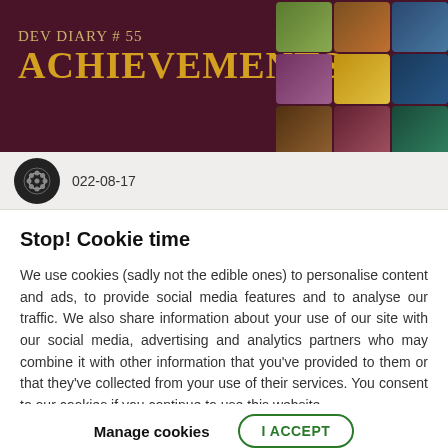[Figure (illustration): Dark maroon banner with 'DEV DIARY # 55 ACHIEVEMENTS' text and a grid of game achievement thumbnail images on the right side]
022-08-17
Stop! Cookie time
We use cookies (sadly not the edible ones) to personalise content and ads, to provide social media features and to analyse our traffic. We also share information about your use of our site with our social media, advertising and analytics partners who may combine it with other information that you've provided to them or that they've collected from your use of their services. You consent to our cookies if you continue to use this website.
Manage cookies | I ACCEPT